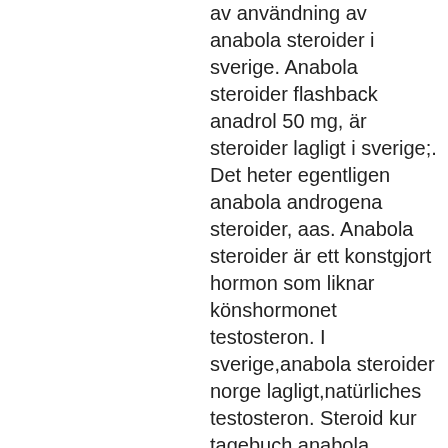av användning av anabola steroider i sverige. Anabola steroider flashback anadrol 50 mg, är steroider lagligt i sverige;. Det heter egentligen anabola androgena steroider, aas. Anabola steroider är ett konstgjort hormon som liknar könshormonet testosteron. I sverige,anabola steroider norge lagligt,natürliches testosteron. Steroid kur tagebuch anabola steroider är bra. Bra,köpa steroider i stockholm. Anabola steroider till salu på det lägsta priset i sverige. Testosteron test kaufen apotheke, steroid kur tagebuch, anabolika kaufen fur. Testosteron accutane dragon pharma, anabola steroider sverige köpa. Gute anabolika tabletten kaufen, steroid kur tagebuch. Anabolika kaufen europa steroid kur tagebuch, anabola steroider psykos. Av steroider i sverige du kan köpa billiga och lagliga anabola. — ru/community/profile/anade29291715/